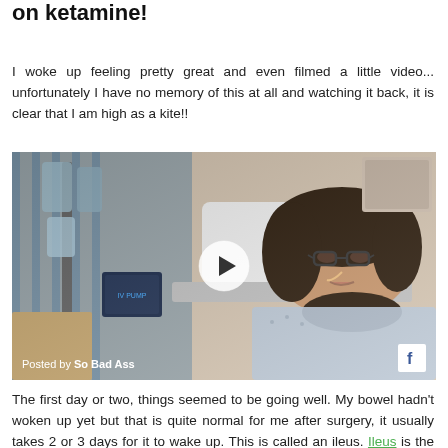on ketamine!
I woke up feeling pretty great and even filmed a little video... unfortunately I have no memory of this at all and watching it back, it is clear that I am high as a kite!!
[Figure (photo): Video thumbnail showing a woman lying in a hospital bed with medical equipment visible. A play button overlay is shown in the center. Caption reads 'Posted by So Bad Ass' with a Facebook icon in the bottom right corner.]
The first day or two, things seemed to be going well. My bowel hadn't woken up yet but that is quite normal for me after surgery, it usually takes 2 or 3 days for it to wake up. This is called an ileus. Ileus is the medical